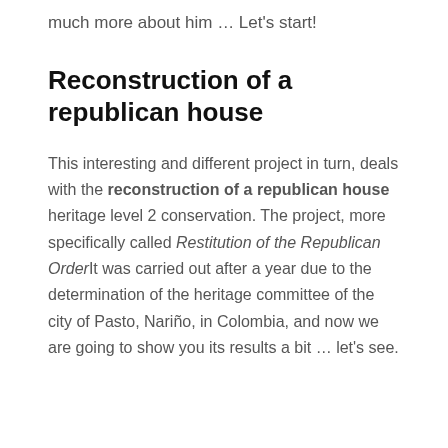much more about him … Let's start!
Reconstruction of a republican house
This interesting and different project in turn, deals with the reconstruction of a republican house heritage level 2 conservation. The project, more specifically called Restitution of the Republican Order It was carried out after a year due to the determination of the heritage committee of the city of Pasto, Nariño, in Colombia, and now we are going to show you its results a bit … let's see.